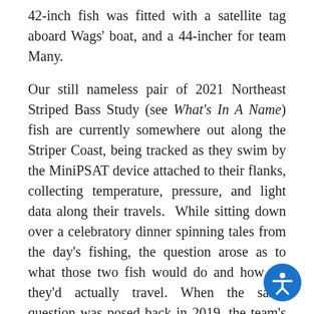42-inch fish was fitted with a satellite tag aboard Wags' boat, and a 44-incher for team Many.
Our still nameless pair of 2021 Northeast Striped Bass Study (see What's In A Name) fish are currently somewhere out along the Striper Coast, being tracked as they swim by the MiniPSAT device attached to their flanks, collecting temperature, pressure, and light data along their travels.  While sitting down over a celebratory dinner spinning tales from the day's fishing, the question arose as to what those two fish would do and how far they'd actually travel. When the same question was posed back in 2019, the team's general assumption was that our tagged stripers would leave the lower Hudson, travel up along the inshore waters of Long Island before heading up and into Rhode Island and Massachusetts state waters.  But